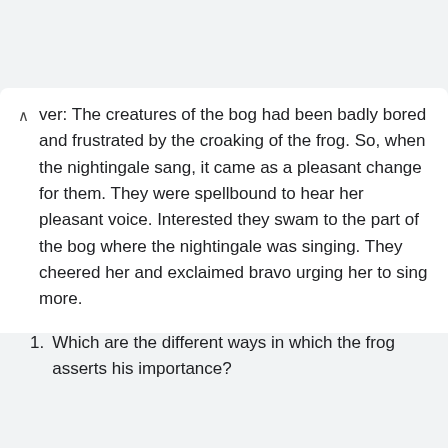ver: The creatures of the bog had been badly bored and frustrated by the croaking of the frog. So, when the nightingale sang, it came as a pleasant change for them. They were spellbound to hear her pleasant voice. Interested they swam to the part of the bog where the nightingale was singing. They cheered her and exclaimed bravo urging her to sing more.
Which are the different ways in which the frog asserts his importance?